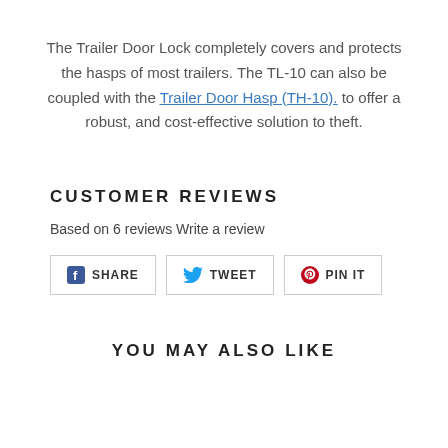The Trailer Door Lock completely covers and protects the hasps of most trailers. The TL-10 can also be coupled with the Trailer Door Hasp (TH-10). to offer a robust, and cost-effective solution to theft.
CUSTOMER REVIEWS
Based on 6 reviews Write a review
[Figure (other): Social sharing buttons: SHARE (Facebook), TWEET (Twitter), PIN IT (Pinterest)]
YOU MAY ALSO LIKE